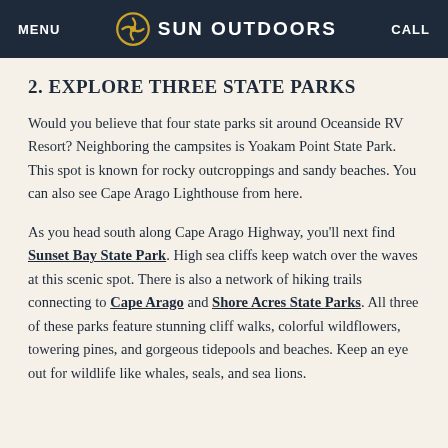MENU | SUN OUTDOORS | CALL
2. EXPLORE THREE STATE PARKS
Would you believe that four state parks sit around Oceanside RV Resort? Neighboring the campsites is Yoakam Point State Park. This spot is known for rocky outcroppings and sandy beaches. You can also see Cape Arago Lighthouse from here.
As you head south along Cape Arago Highway, you'll next find Sunset Bay State Park. High sea cliffs keep watch over the waves at this scenic spot. There is also a network of hiking trails connecting to Cape Arago and Shore Acres State Parks. All three of these parks feature stunning cliff walks, colorful wildflowers, towering pines, and gorgeous tidepools and beaches. Keep an eye out for wildlife like whales, seals, and sea lions.